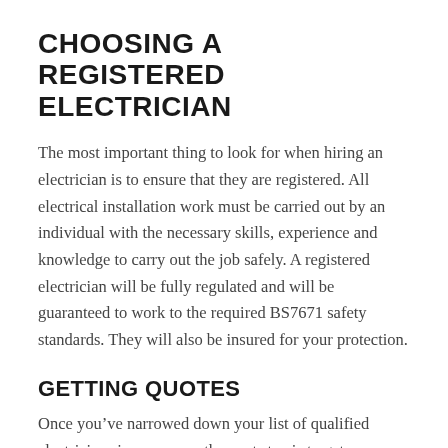CHOOSING A REGISTERED ELECTRICIAN
The most important thing to look for when hiring an electrician is to ensure that they are registered. All electrical installation work must be carried out by an individual with the necessary skills, experience and knowledge to carry out the job safely. A registered electrician will be fully regulated and will be guaranteed to work to the required BS7671 safety standards. They will also be insured for your protection.
GETTING QUOTES
Once you’ve narrowed down your list of qualified electricians in your area, the next step is to get some quotes to compare. Make sure